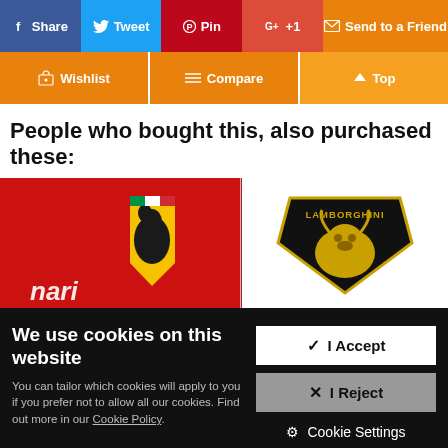[Figure (screenshot): Social share buttons: Share (Facebook), Tweet (Twitter), Pin (Pinterest), G+ +1 (Google+), Send to a Friend (email)]
[Figure (screenshot): Action buttons: Wishlist, Compare, Top]
People who bought this, also purchased these:
[Figure (photo): Ferrari logo/badge on red car body on left, Lamborghini shield logo on right, separated by a vertical divider]
We use cookies on this website
You can tailor which cookies will apply to you if you prefer not to allow all our cookies. Find out more in our Cookie Policy.
[Figure (screenshot): Cookie consent buttons: I Accept (white), I Reject (grey), Cookie Settings (text)]